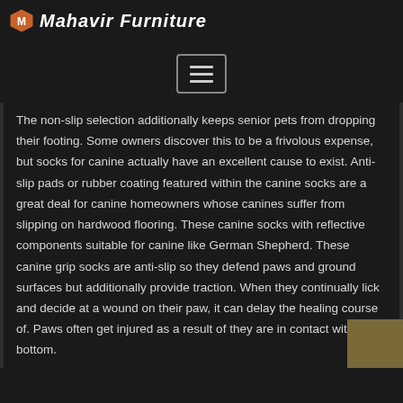Mahavir Furniture
[Figure (other): Hamburger menu navigation button with three horizontal lines, bordered square button]
The non-slip selection additionally keeps senior pets from dropping their footing. Some owners discover this to be a frivolous expense, but socks for canine actually have an excellent cause to exist. Anti-slip pads or rubber coating featured within the canine socks are a great deal for canine homeowners whose canines suffer from slipping on hardwood flooring. These canine socks with reflective components suitable for canine like German Shepherd. These canine grip socks are anti-slip so they defend paws and ground surfaces but additionally provide traction. When they continually lick and decide at a wound on their paw, it can delay the healing course of. Paws often get injured as a result of they are in contact with the bottom.